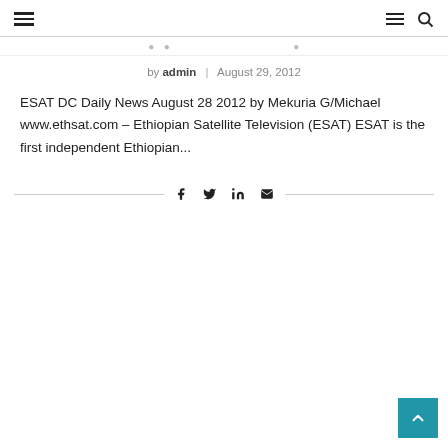Navigation and search icons
[title/url snippet partially visible]
by admin  |  August 29, 2012
ESAT DC Daily News August 28 2012 by Mekuria G/Michael www.ethsat.com – Ethiopian Satellite Television (ESAT) ESAT is the first independent Ethiopian...
[Figure (infographic): Social share icons: Facebook, Twitter, LinkedIn, Email, with horizontal rules on each side]
[Figure (infographic): Back to top button (teal square with upward chevron) in bottom-right corner]